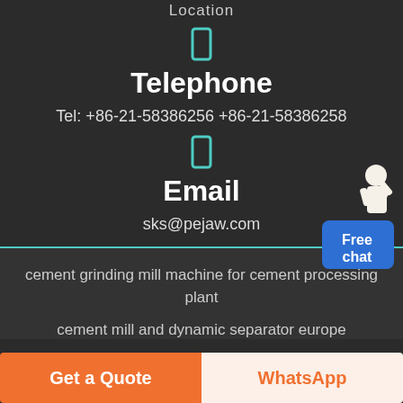Location
Telephone
Tel: +86-21-58386256 +86-21-58386258
Email
sks@pejaw.com
cement grinding mill machine for cement processing plant
cement mill and dynamic separator europe
Get a Quote
WhatsApp